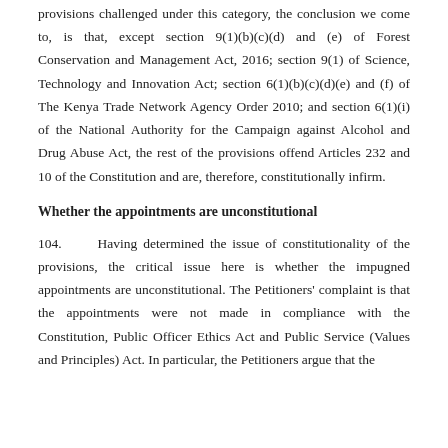provisions challenged under this category, the conclusion we come to, is that, except section 9(1)(b)(c)(d) and (e) of Forest Conservation and Management Act, 2016; section 9(1) of Science, Technology and Innovation Act; section 6(1)(b)(c)(d)(e) and (f) of The Kenya Trade Network Agency Order 2010; and section 6(1)(i) of the National Authority for the Campaign against Alcohol and Drug Abuse Act, the rest of the provisions offend Articles 232 and 10 of the Constitution and are, therefore, constitutionally infirm.
Whether the appointments are unconstitutional
104.   Having determined the issue of constitutionality of the provisions, the critical issue here is whether the impugned appointments are unconstitutional. The Petitioners' complaint is that the appointments were not made in compliance with the Constitution, Public Officer Ethics Act and Public Service (Values and Principles) Act. In particular, the Petitioners argue that the